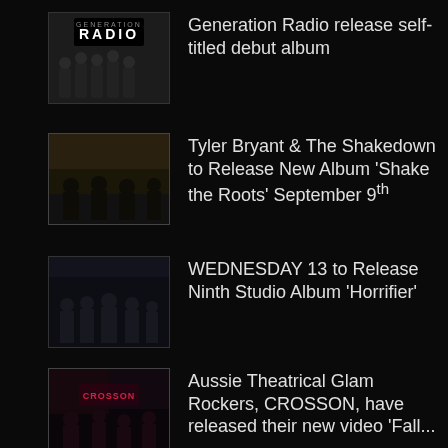[Figure (photo): Album cover thumbnail for Generation Radio]
Generation Radio release self-titled debut album
[Figure (photo): Band photo thumbnail for Tyler Bryant & The Shakedown]
Tyler Bryant & The Shakedown to Release New Album 'Shake the Roots' September 9th
[Figure (photo): Band photo thumbnail for Wednesday 13]
WEDNESDAY 13 to Release Ninth Studio Album 'Horrifier'
[Figure (photo): Band photo thumbnail for CROSSON]
Aussie Theatrical Glam Rockers, CROSSON, have released their new video 'Fall...